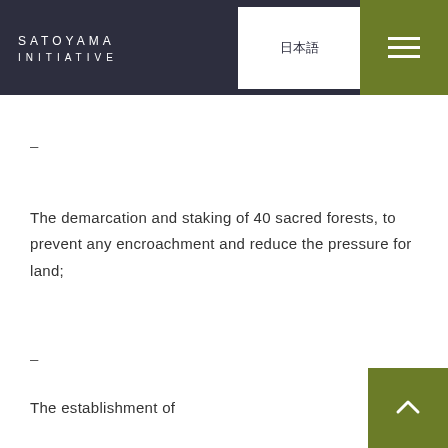SATOYAMA INITIATIVE
–
The demarcation and staking of 40 sacred forests, to prevent any encroachment and reduce the pressure for land;
–
The establishment of
60 ha